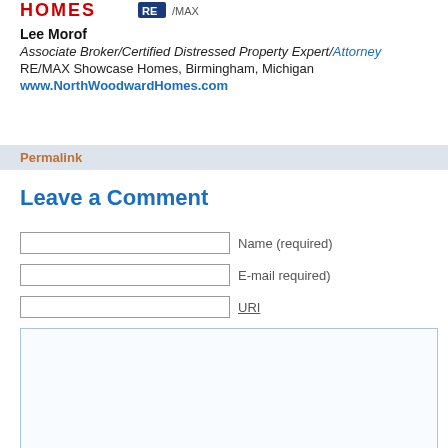[Figure (logo): RE/MAX Showcase Homes logo at top]
Lee Morof
Associate Broker/Certified Distressed Property Expert/Attorney
RE/MAX Showcase Homes, Birmingham, Michigan
www.NorthWoodwardHomes.com
Permalink
Leave a Comment
Name (required)
E-mail required)
URI
Submit Comment